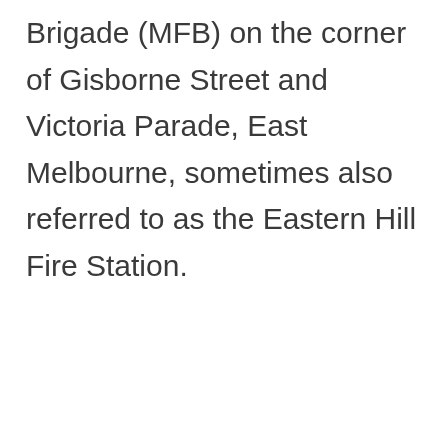Brigade (MFB) on the corner of Gisborne Street and Victoria Parade, East Melbourne, sometimes also referred to as the Eastern Hill Fire Station.